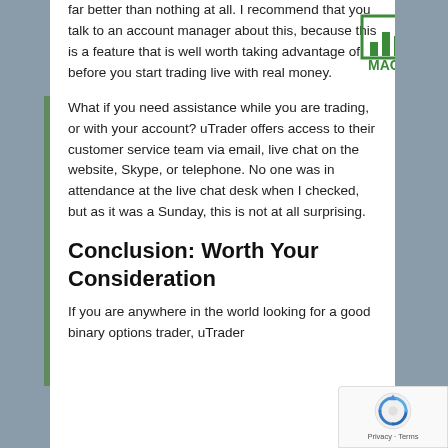far better than nothing at all. I recommend that you talk to an account manager about this, because this is a feature that is well worth taking advantage of before you start trading live with real money.
What if you need assistance while you are trading, or with your account? uTrader offers access to their customer service team via email, live chat on the website, Skype, or telephone. No one was in attendance at the live chat desk when I checked, but as it was a Sunday, this is not at all surprising.
Conclusion: Worth Your Consideration
If you are anywhere in the world looking for a good binary options trader, uTrader